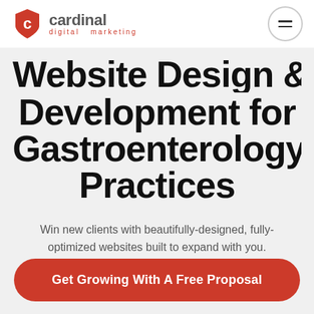[Figure (logo): Cardinal Digital Marketing logo with red shield icon containing letter C, company name 'cardinal' in gray bold text, and 'digital marketing' in small red text beneath]
Website Design & Development for Gastroenterology Practices
Win new clients with beautifully-designed, fully-optimized websites built to expand with you.
Get Growing With A Free Proposal